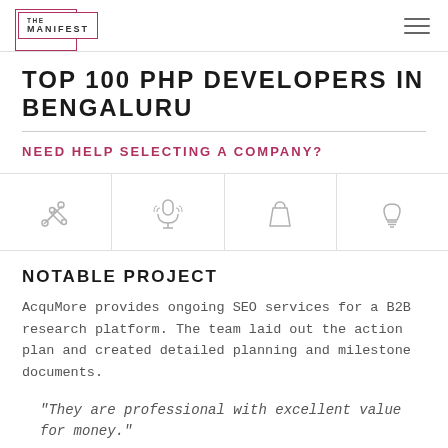THE MANIFEST
TOP 100 PHP DEVELOPERS IN BENGALURU
NEED HELP SELECTING A COMPANY?
[Figure (infographic): Four icon cells in a row: tools/wrench, microphone, shopping bag, light bulb]
NOTABLE PROJECT
AcquMore provides ongoing SEO services for a B2B research platform. The team laid out the action plan and created detailed planning and milestone documents.
"They are professional with excellent value for money."